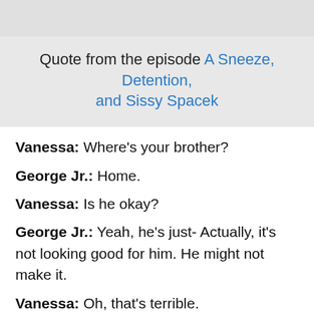Quote from the episode A Sneeze, Detention, and Sissy Spacek
Vanessa: Where's your brother?
George Jr.: Home.
Vanessa: Is he okay?
George Jr.: Yeah, he's just- Actually, it's not looking good for him. He might not make it.
Vanessa: Oh, that's terrible.